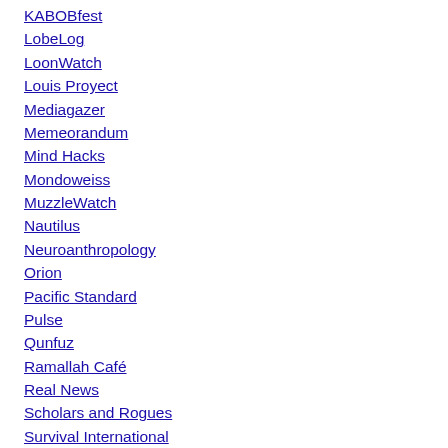KABOBfest
LobeLog
LoonWatch
Louis Proyect
Mediagazer
Memeorandum
Mind Hacks
Mondoweiss
MuzzleWatch
Nautilus
Neuroanthropology
Orion
Pacific Standard
Pulse
Qunfuz
Ramallah Café
Real News
Scholars and Rogues
Survival International